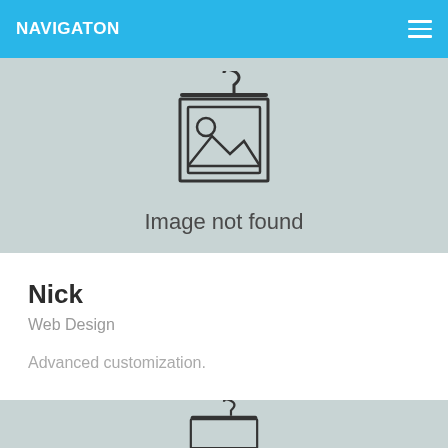NAVIGATON
[Figure (illustration): Image not found placeholder icon — a framed picture icon with a sun/cloud and mountains silhouette, with text 'Image not found' below]
Nick
Web Design
Advanced customization.
[Figure (illustration): Partial second image-not-found placeholder card at bottom of page]